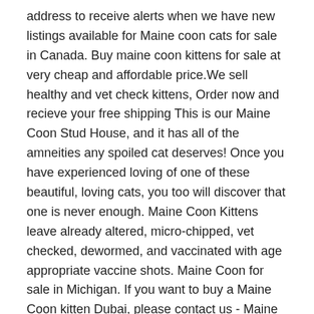address to receive alerts when we have new listings available for Maine coon cats for sale in Canada. Buy maine coon kittens for sale at very cheap and affordable price.We sell healthy and vet check kittens, Order now and recieve your free shipping This is our Maine Coon Stud House, and it has all of the amneities any spoiled cat deserves! Once you have experienced loving of one of these beautiful, loving cats, you too will discover that one is never enough. Maine Coon Kittens leave already altered, micro-chipped, vet checked, dewormed, and vaccinated with age appropriate vaccine shots. Maine Coon for sale in Michigan. If you want to buy a Maine Coon kitten Dubai, please contact us - Maine Coon cattery Kingcoons. Finding a Maine Coon cat breeder in Alaska can be difficult, but we've done all of the hard work for you. Don't miss what's happening in ... It will be companion to my 3 years old Maine Coon Cat. Cats in Dubai - Main Coon Kittens For Sale Sale Contact via